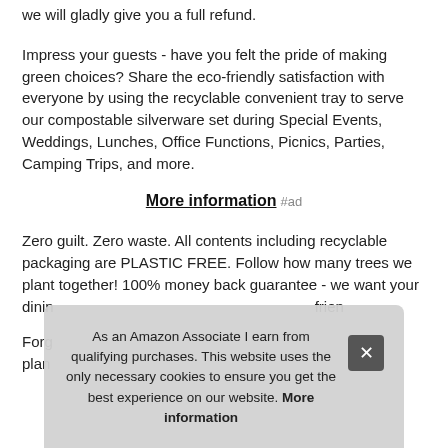we will gladly give you a full refund.
Impress your guests - have you felt the pride of making green choices? Share the eco-friendly satisfaction with everyone by using the recyclable convenient tray to serve our compostable silverware set during Special Events, Weddings, Lunches, Office Functions, Picnics, Parties, Camping Trips, and more.
More information #ad
Zero guilt. Zero waste. All contents including recyclable packaging are PLASTIC FREE. Follow how many trees we plant together! 100% money back guarantee - we want your dining experience to be stress-free and eco-friendly.
Forgot something? Our compostable... plant...
As an Amazon Associate I earn from qualifying purchases. This website uses the only necessary cookies to ensure you get the best experience on our website. More information